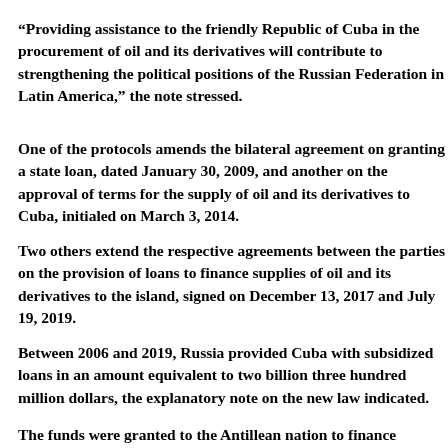“Providing assistance to the friendly Republic of Cuba in the procurement of oil and its derivatives will contribute to strengthening the political positions of the Russian Federation in Latin America,” the note stressed.
One of the protocols amends the bilateral agreement on granting a state loan, dated January 30, 2009, and another on the approval of terms for the supply of oil and its derivatives to Cuba, initialed on March 3, 2014.
Two others extend the respective agreements between the parties on the provision of loans to finance supplies of oil and its derivatives to the island, signed on December 13, 2017 and July 19, 2019.
Between 2006 and 2019, Russia provided Cuba with subsidized loans in an amount equivalent to two billion three hundred million dollars, the explanatory note on the new law indicated.
The funds were granted to the Antillean nation to fi...